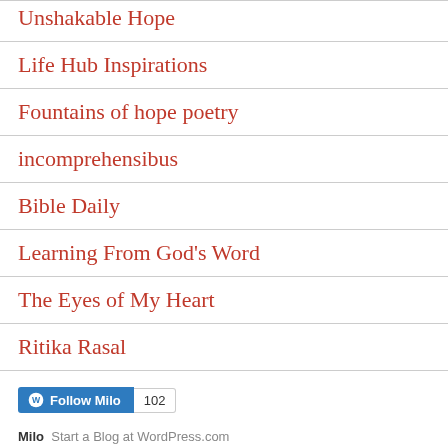Unshakable Hope
Life Hub Inspirations
Fountains of hope poetry
incomprehensibus
Bible Daily
Learning From God's Word
The Eyes of My Heart
Ritika Rasal
Follow Milo  102
Milo  Start a Blog at WordPress.com